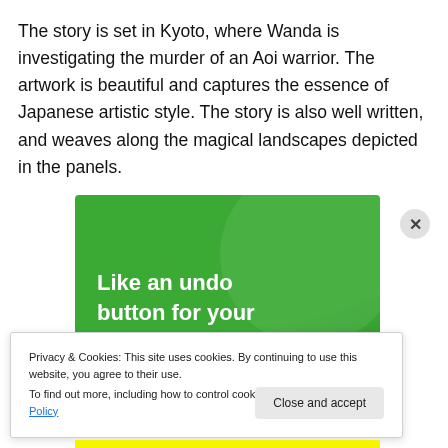The story is set in Kyoto, where Wanda is investigating the murder of an Aoi warrior. The artwork is beautiful and captures the essence of Japanese artistic style. The story is also well written, and weaves along the magical landscapes depicted in the panels.
[Figure (other): Green advertisement banner with bold white text: 'Like an undo button for your WordPress site']
Privacy & Cookies: This site uses cookies. By continuing to use this website, you agree to their use. To find out more, including how to control cookies, see here: Cookie Policy
Close and accept